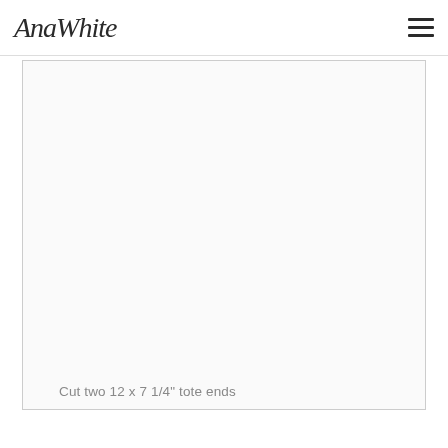AnaWhite
[Figure (photo): Large white/light-colored rectangular image area showing a cut piece of wood or material for a tote end]
Cut two 12 x 7 1/4" tote ends